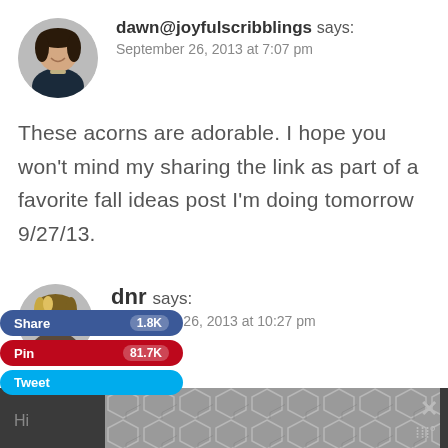[Figure (photo): Circular avatar of dawn@joyfulscribblings, a woman in dark clothing]
dawn@joyfulscribblings says:
September 26, 2013 at 7:07 pm
These acorns are adorable. I hope you won't mind my sharing the link as part of a favorite fall ideas post I'm doing tomorrow 9/27/13.
[Figure (photo): Circular avatar of dnr, a woman with highlighted hair]
dnr says:
September 26, 2013 at 10:27 pm
[Figure (screenshot): Social share buttons: Share 1.8K (blue), Pin 81.7K (red), Tweet (cyan)]
[Figure (screenshot): Bottom dark bar with geometric hexagon pattern and close X button]